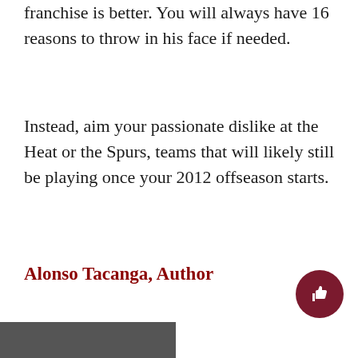franchise is better. You will always have 16 reasons to throw in his face if needed.
Instead, aim your passionate dislike at the Heat or the Spurs, teams that will likely still be playing once your 2012 offseason starts.
Alonso Tacanga, Author
[Figure (photo): Partial dark/grey image visible at bottom left corner of the page]
[Figure (other): Dark red circular thumbs-up button in bottom right corner]